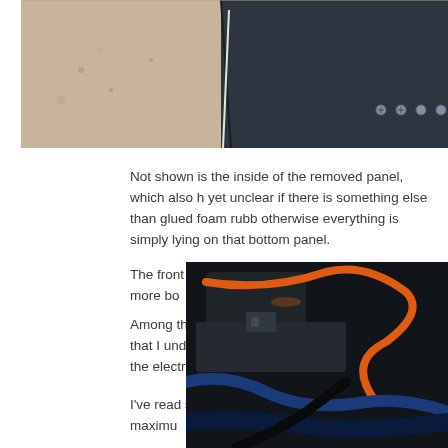[Figure (photo): Close-up photo of a removed panel showing a dark metal surface with screws and a sandy/wooden surface beneath]
Not shown is the inside of the removed panel, which also h yet unclear if there is something else than glued foam rubb otherwise everything is simply lying on that bottom panel.
The front end after the cables is empty space, no more bo
Among the spaghetti there's the grey cable loop that I und maximum speed. In Finland, this makes the electronic kick
I've read some differing information about the true maximu
[Figure (photo): Dark photo showing cables including orange and blue wires inside what appears to be an electric scooter or vehicle compartment]